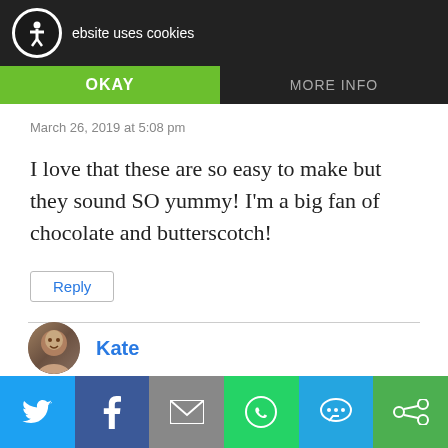[Figure (screenshot): Cookie consent banner with accessibility icon, OKAY button in green, MORE INFO button]
Baking Fairy
March 26, 2019 at 5:08 pm
I love that these are so easy to make but they sound SO yummy! I'm a big fan of chocolate and butterscotch!
Reply
Kate
March 26, 2019 at 5:30 pm
[Figure (infographic): Social sharing bar with Twitter, Facebook, Email, WhatsApp, SMS, and other icons]